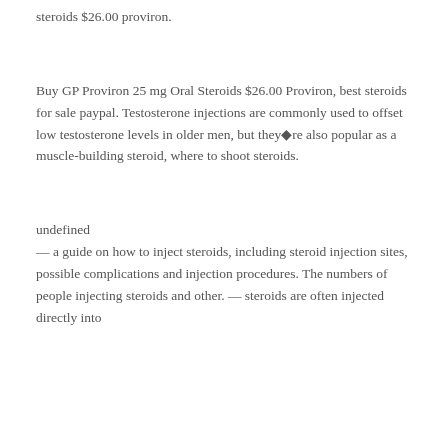steroids $26.00 proviron.
Buy GP Proviron 25 mg Oral Steroids $26.00 Proviron, best steroids for sale paypal. Testosterone injections are commonly used to offset low testosterone levels in older men, but they◆re also popular as a muscle-building steroid, where to shoot steroids.
undefined
— a guide on how to inject steroids, including steroid injection sites, possible complications and injection procedures. The numbers of people injecting steroids and other. — steroids are often injected directly into